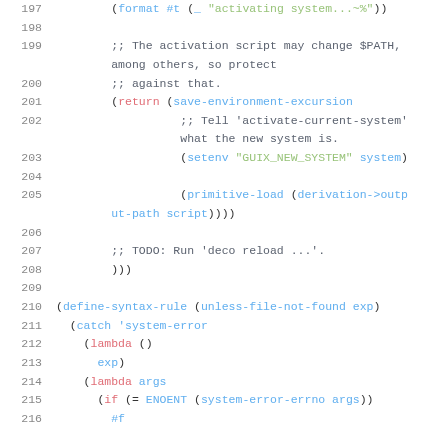[Figure (screenshot): Source code listing in a Lisp/Scheme language (Guix system configuration), lines 197–216, with syntax highlighting. Line numbers in gray on the left, keywords in red/pink, function names and symbols in blue, comments in dark gray, strings in green.]